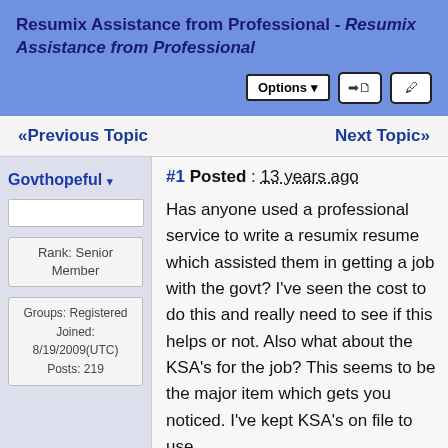Resumix Assistance from Professional - Resumix Assistance from Professional
«Previous Topic    Next Topic»
Govthopeful
Rank: Senior Member
Groups: Registered
Joined: 8/19/2009(UTC)
Posts: 219
#1 Posted : 13 years ago
Has anyone used a professional service to write a resumix resume which assisted them in getting a job with the govt? I've seen the cost to do this and really need to see if this helps or not. Also what about the KSA's for the job? This seems to be the major item which gets you noticed. I've kept KSA's on file to use